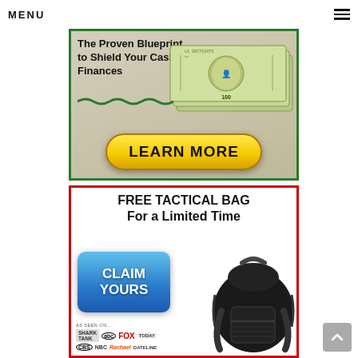MENU
[Figure (infographic): Advertisement: 'The Proven Blueprint to Shield Your Cash & Finances' with image of $100 bills and a yellow 'LEARN MORE' button. Green border.]
[Figure (infographic): Advertisement: 'FREE TACTICAL BAG For a Limited Time' with blue 'CLAIM YOURS' button, image of black tactical backpack, and logos: Shark Tank, ABC, FOX, Today, CBS, NBC, Rachael Ray, Dateline. Red border.]